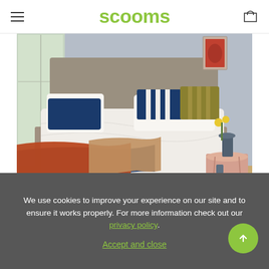scooms
[Figure (photo): A neatly made bed with white duvet and pillows, blue navy pillow, striped cushion, mustard cushion; warm rust/terracotta throw and navy blanket layered at foot of bed; grey upholstered headboard; bedside table with lamp and vase; large window with garden view; grey/blue wall.]
We use cookies to improve your experience on our site and to ensure it works properly. For more information check out our privacy policy.
Accept and close